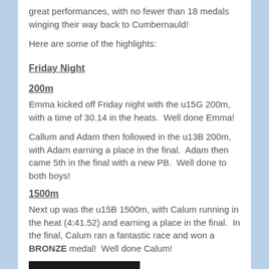great performances, with no fewer than 18 medals winging their way back to Cumbernauld!
Here are some of the highlights:
Friday Night
200m
Emma kicked off Friday night with the u15G 200m, with a time of 30.14 in the heats.  Well done Emma!
Callum and Adam then followed in the u13B 200m, with Adam earning a place in the final.  Adam then came 5th in the final with a new PB.  Well done to both boys!
1500m
Next up was the u15B 1500m, with Calum running in the heat (4:41.52) and earning a place in the final.  In the final, Calum ran a fantastic race and won a BRONZE medal!  Well done Calum!
[Figure (photo): Photo of a person, partially visible at bottom of page]